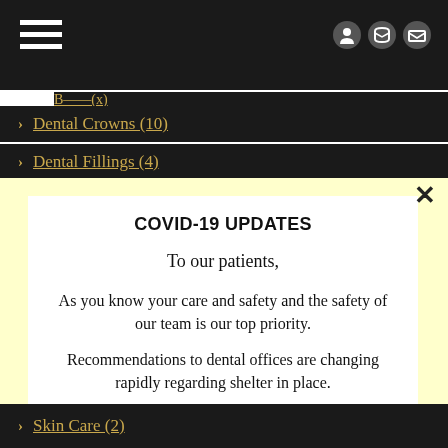Navigation menu header with hamburger icon and contact icons
› Dental Crowns (10)
› Dental Fillings (4)
COVID-19 UPDATES
To our patients,
As you know your care and safety and the safety of our team is our top priority.
Recommendations to dental offices are changing rapidly regarding shelter in place.
› Skin Care (2)